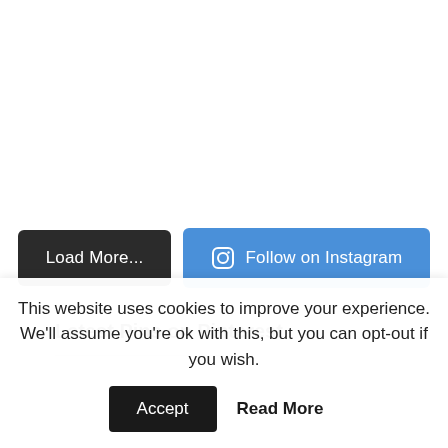[Figure (other): Two buttons: 'Load More...' (dark background) and 'Follow on Instagram' (blue background with Instagram icon)]
Latest Pins on Pinterest
This website uses cookies to improve your experience. We'll assume you're ok with this, but you can opt-out if you wish.
Accept  Read More